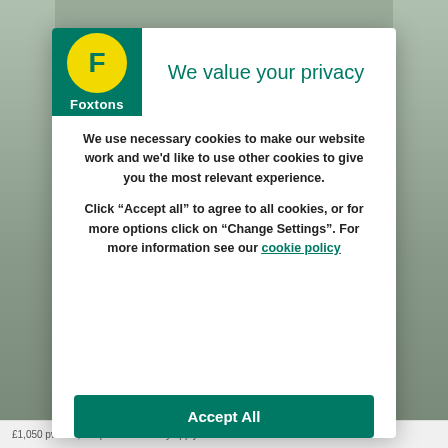[Figure (logo): Foxtons real estate agency logo: green background box with yellow circle containing bold green F letter, and 'Foxtons' text in white below]
We value your privacy
We use necessary cookies to make our website work and we'd like to use other cookies to give you the most relevant experience.
Click “Accept all” to agree to all cookies, or for more options click on “Change Settings”. For more information see our cookie policy
Accept All